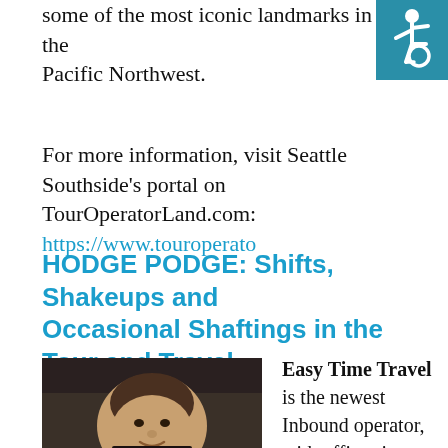some of the most iconic landmarks in the Pacific Northwest.
[Figure (illustration): Wheelchair accessibility icon: white wheelchair symbol on teal/blue background]
For more information, visit Seattle Southside's portal on TourOperatorLand.com: https://www.touroperato…
HODGE PODGE: Shifts, Shakeups and Occasional Shaftings in the Tour and Travel Industry
[Figure (photo): Photo of a man (headshot), slightly balding, smiling, wearing dark clothing against a dark background]
Easy Time Travel is the newest Inbound operator, with offices in Orlando, Florida, Las Vegas,